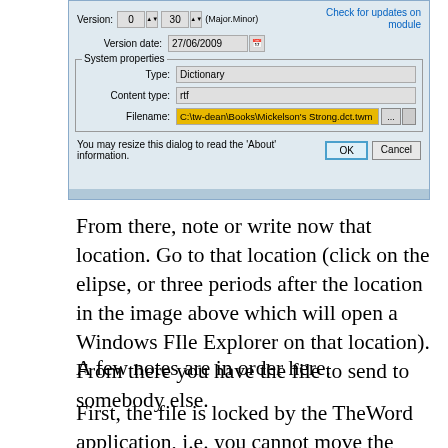[Figure (screenshot): Windows dialog box showing module properties with Version date 27/06/2009, System properties section with Type: Dictionary, Content type: rtf, Filename: C:\tw-dean\Books\Mickelson's Strong.dct.twm highlighted in yellow, with OK and Cancel buttons and a Check for updates on module link.]
From there, note or write now that location. Go to that location (click on the elipse, or three periods after the location in the image above which will open a Windows FIle Explorer on that location). From there you have the file to send to somebody else.
A few notes are in order here.
First, the file is locked by the TheWord application, i.e. you cannot move the file, delete the file, nor change it's name. You must close down theWord